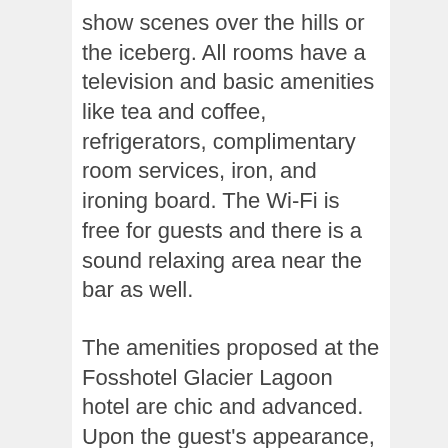show scenes over the hills or the iceberg. All rooms have a television and basic amenities like tea and coffee, refrigerators, complimentary room services, iron, and ironing board. The Wi-Fi is free for guests and there is a sound relaxing area near the bar as well.
The amenities proposed at the Fosshotel Glacier Lagoon hotel are chic and advanced. Upon the guest's appearance, they provide you with a guider who escorts you about the city and its weather forecast. The room amenities include a safe box, fridge, automated hypoallergic and comfy bedclothes/pillows. Walk-in bathing